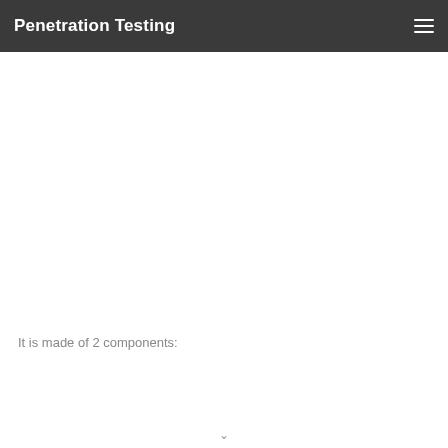Penetration Testing
It is made of 2 components: